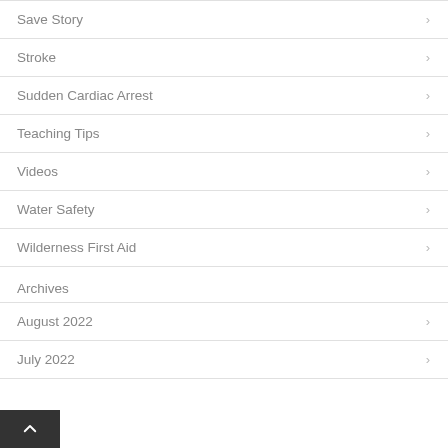Save Story
Stroke
Sudden Cardiac Arrest
Teaching Tips
Videos
Water Safety
Wilderness First Aid
Archives
August 2022
July 2022